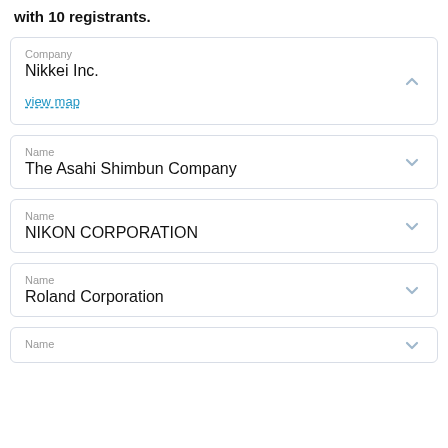with 10 registrants.
Company: Nikkei Inc. | view map
Name: The Asahi Shimbun Company
Name: NIKON CORPORATION
Name: Roland Corporation
Name: (partially visible)